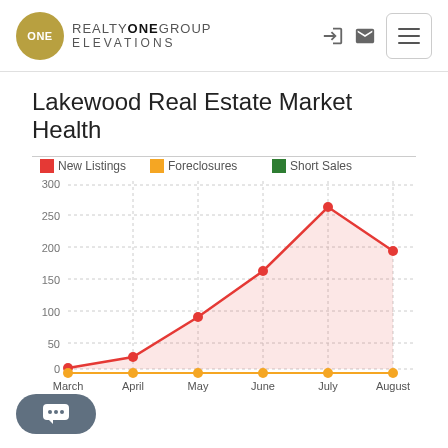REALTY ONE GROUP ELEVATIONS
Lakewood Real Estate Market Health
[Figure (line-chart): Lakewood Real Estate Market Health]